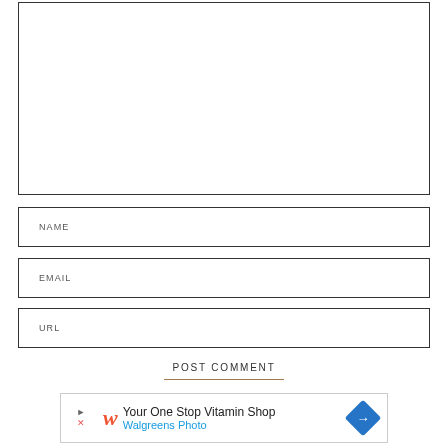[Figure (other): Empty comment text area input box with border]
NAME
EMAIL
URL
POST COMMENT
[Figure (other): Walgreens advertisement banner: 'Your One Stop Vitamin Shop - Walgreens Photo' with Walgreens script logo and blue diamond arrow icon]